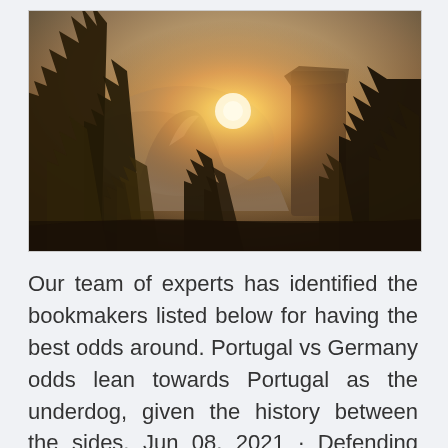[Figure (photo): Landscape photo of a mountain scene at sunset with tall pine/conifer trees in the foreground and sides, a large mountain peak (Half Dome style) in the background, and warm golden sunlight bursting through between the trees and mountain.]
Our team of experts has identified the bookmakers listed below for having the best odds around. Portugal vs Germany odds lean towards Portugal as the underdog, given the history between the sides. Jun 08, 2021 · Defending Euro champions Portugal are also in their group alongside Hungary.